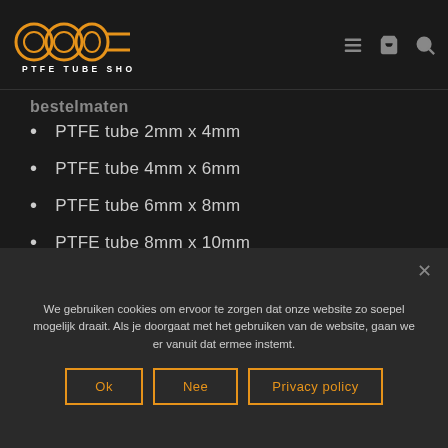[Figure (logo): PTFE Tube Shop logo with orange tube/circle icons and text 'PTFE TUBE SHOP']
PTFE tube 2mm x 4mm
PTFE tube 4mm x 6mm
PTFE tube 6mm x 8mm
PTFE tube 8mm x 10mm
PTFE tube 10mm x 12mm
PTFE tube 12mm x 14mm
We gebruiken cookies om ervoor te zorgen dat onze website zo soepel mogelijk draait. Als je doorgaat met het gebruiken van de website, gaan we er vanuit dat ermee instemt.
Ok | Nee | Privacy policy